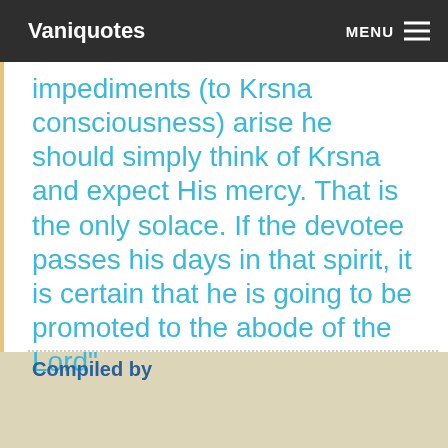Vaniquotes  MENU
impediments (to Krsna consciousness) arise he should simply think of Krsna and expect His mercy. That is the only solace. If the devotee passes his days in that spirit, it is certain that he is going to be promoted to the abode of the Lord"
Compiled by